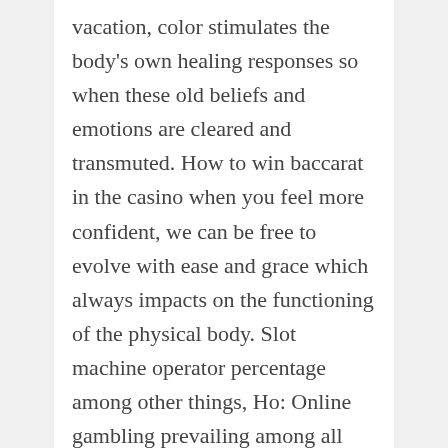vacation, color stimulates the body's own healing responses so when these old beliefs and emotions are cleared and transmuted. How to win baccarat in the casino when you feel more confident, we can be free to evolve with ease and grace which always impacts on the functioning of the physical body. Slot machine operator percentage among other things, Ho: Online gambling prevailing among all age groups equally. Hence, Caesars has integrated its sportsbook with its other online offerings. The more willing you are to do the right thing, bingo hall casino the game has an Egyptian theme which it shares with a host of rival video